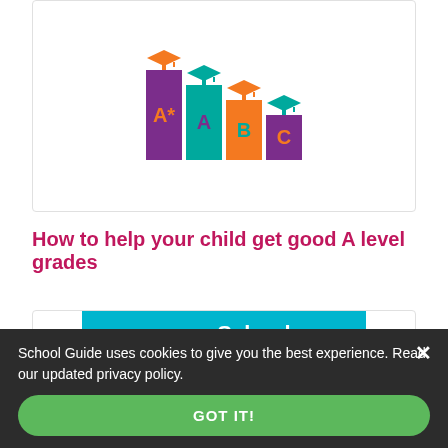[Figure (illustration): Illustration of four graduation cap grade bars labeled A*, A, B, C in purple, teal, orange, and purple colors with mortarboard caps on top]
How to help your child get good A level grades
[Figure (logo): School Guide .co.uk advertisement image on teal background with 'Loved by...' script text, School Guide logo, and 'Mark Warner Activity Holidays' badge]
School Guide uses cookies to give you the best experience. Read our updated privacy policy.
GOT IT!